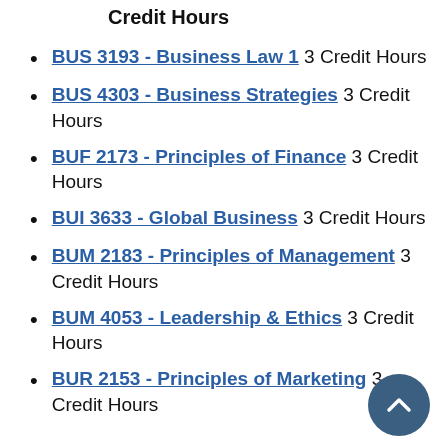Credit Hours
BUS 3193 - Business Law 1 3 Credit Hours
BUS 4303 - Business Strategies 3 Credit Hours
BUF 2173 - Principles of Finance 3 Credit Hours
BUI 3633 - Global Business 3 Credit Hours
BUM 2183 - Principles of Management 3 Credit Hours
BUM 4053 - Leadership & Ethics 3 Credit Hours
BUR 2153 - Principles of Marketing 3 Credit Hours